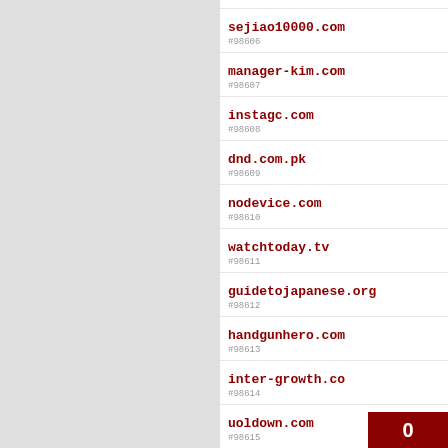#98606 sejiao10000.com
#98607 manager-kim.com
#98608 instagc.com
#98609 dnd.com.pk
#98610 nodevice.com
#98611 watchtoday.tv
#98612 guidetojapanese.org
#98613 handgunhero.com
#98614 inter-growth.co
#98615 uoldown.com
#98616 eurobike.com
#98617 whugesto.net